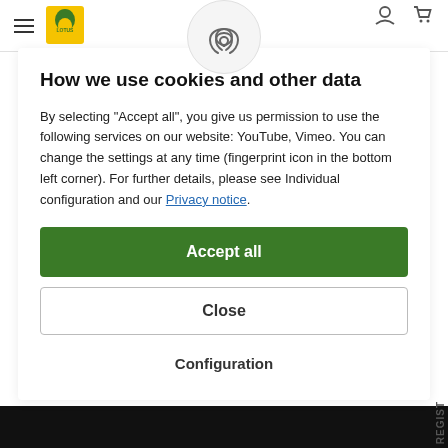Lotus Cars website header with hamburger menu, Lotus logo, user icon, and cart icon
[Figure (illustration): Fingerprint icon in a circular light grey button, centered at top of modal overlay]
How we use cookies and other data
By selecting "Accept all", you give us permission to use the following services on our website: YouTube, Vimeo. You can change the settings at any time (fingerprint icon in the bottom left corner). For further details, please see Individual configuration and our Privacy notice.
Accept all
Close
Configuration